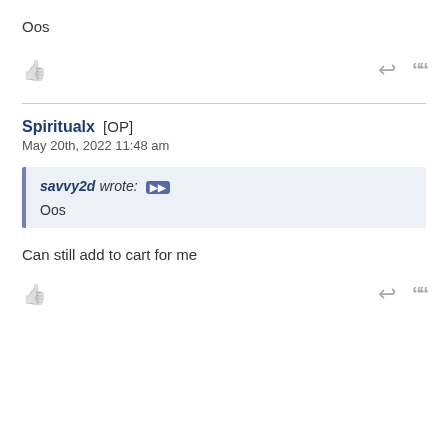Oos
[action bar: thumbs up, reply, quote]
Spiritualx [OP]
May 20th, 2022 11:48 am
savvy2d wrote: Oos
Can still add to cart for me
[action bar: thumbs up, reply, quote]